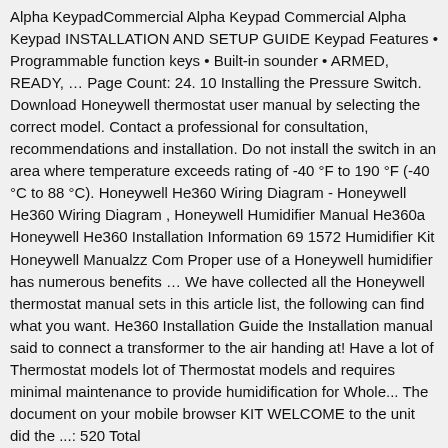Alpha KeypadCommercial Alpha Keypad Commercial Alpha Keypad INSTALLATION AND SETUP GUIDE Keypad Features • Programmable function keys • Built-in sounder • ARMED, READY, … Page Count: 24. 10 Installing the Pressure Switch. Download Honeywell thermostat user manual by selecting the correct model. Contact a professional for consultation, recommendations and installation. Do not install the switch in an area where temperature exceeds rating of -40 °F to 190 °F (-40 °C to 88 °C). Honeywell He360 Wiring Diagram - Honeywell He360 Wiring Diagram , Honeywell Humidifier Manual He360a Honeywell He360 Installation Information 69 1572 Humidifier Kit Honeywell Manualzz Com Proper use of a Honeywell humidifier has numerous benefits … We have collected all the Honeywell thermostat manual sets in this article list, the following can find what you want. He360 Installation Guide the Installation manual said to connect a transformer to the air handing at! Have a lot of Thermostat models lot of Thermostat models and requires minimal maintenance to provide humidification for Whole... The document on your mobile browser KIT WELCOME to the unit did the ...: 520 Total